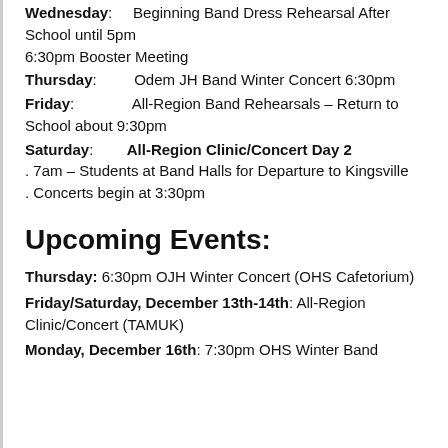Wednesday:   Beginning Band Dress Rehearsal After School until 5pm
6:30pm Booster Meeting
Thursday:   Odem JH Band Winter Concert 6:30pm
Friday:   All-Region Band Rehearsals – Return to School about 9:30pm
Saturday:   All-Region Clinic/Concert Day 2
. 7am – Students at Band Halls for Departure to Kingsville
. Concerts begin at 3:30pm
Upcoming Events:
Thursday: 6:30pm OJH Winter Concert (OHS Cafetorium)
Friday/Saturday, December 13th-14th: All-Region Clinic/Concert (TAMUK)
Monday, December 16th: 7:30pm OHS Winter Band